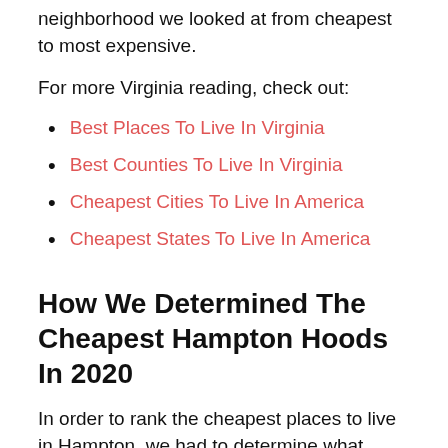neighborhood we looked at from cheapest to most expensive.
For more Virginia reading, check out:
Best Places To Live In Virginia
Best Counties To Live In Virginia
Cheapest Cities To Live In America
Cheapest States To Live In America
How We Determined The Cheapest Hampton Hoods In 2020
In order to rank the cheapest places to live in Hampton, we had to determine what criteria defines “cheap”.
Using census and extrapolated BLS data, we